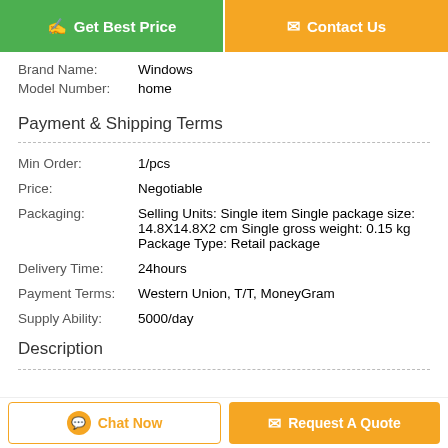[Figure (other): Two CTA buttons: 'Get Best Price' (green) and 'Contact Us' (orange)]
Brand Name: Windows
Model Number: home
Payment & Shipping Terms
Min Order: 1/pcs
Price: Negotiable
Packaging: Selling Units: Single item Single package size: 14.8X14.8X2 cm Single gross weight: 0.15 kg Package Type: Retail package
Delivery Time: 24hours
Payment Terms: Western Union, T/T, MoneyGram
Supply Ability: 5000/day
Description
[Figure (other): Two CTA buttons at bottom: 'Chat Now' (outlined orange) and 'Request A Quote' (filled orange)]